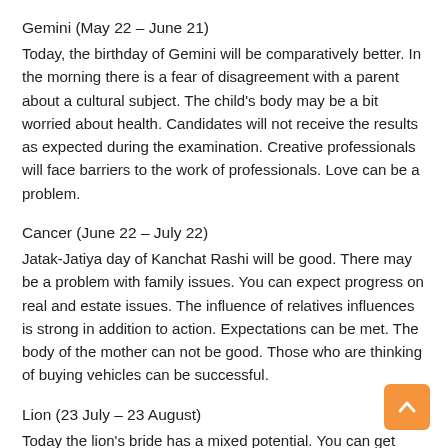Gemini (May 22 – June 21)
Today, the birthday of Gemini will be comparatively better. In the morning there is a fear of disagreement with a parent about a cultural subject. The child's body may be a bit worried about health. Candidates will not receive the results as expected during the examination. Creative professionals will face barriers to the work of professionals. Love can be a problem.
Cancer (June 22 – July 22)
Jatak-Jatiya day of Kanchat Rashi will be good. There may be a problem with family issues. You can expect progress on real and estate issues. The influence of relatives influences is strong in addition to action. Expectations can be met. The body of the mother can not be good. Those who are thinking of buying vehicles can be successful.
Lion (23 July – 23 August)
Today the lion's bride has a mixed potential. You can get some borrowing money back in the morning. Young siblings have to go through their education. Journalists and publishers can increase their income. Set Neighb-level Mate Travelling increases abilities...